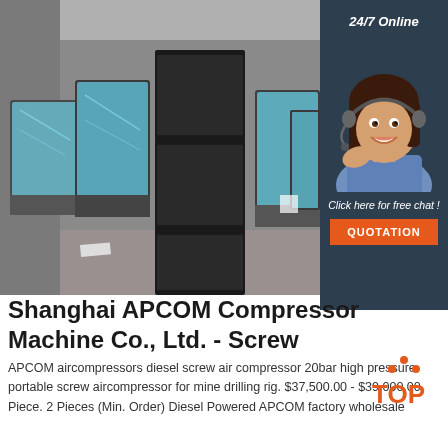[Figure (photo): Warehouse photo showing multiple air compressors wrapped in blue protective plastic, stacked on metal pallets in an industrial facility. A dark metal cabinet/unit is in the foreground.]
[Figure (photo): 24/7 Online chat panel with a smiling female customer service representative wearing a headset, on dark navy blue background. Includes 'Click here for free chat!' text and orange QUOTATION button.]
Shanghai APCOM Compressor Machine Co., Ltd. - Screw
[Figure (logo): TOP logo with orange dots above text]
APCOM aircompressors diesel screw air compressor 20bar high pressure portable screw aircompressor for mine drilling rig. $37,500.00 - $39,000.00 Piece. 2 Pieces (Min. Order) Diesel Powered APCOM factory wholesale